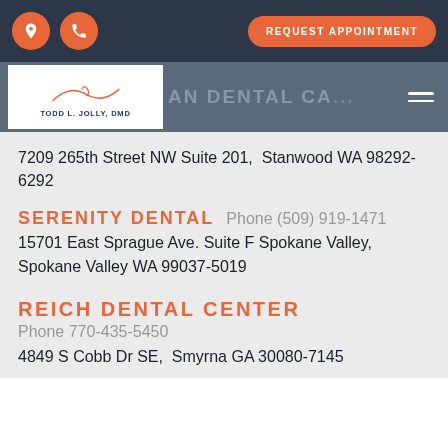Todd L. Jolly, DMD — AN DENTAL CA... — REQUEST APPOINTMENT
7209 265th Street NW Suite 201,  Stanwood WA 98292-6292
SERENITY DENTAL  Phone (509) 919-1471
15701 East Sprague Ave. Suite F Spokane Valley,  Spokane Valley WA 99037-5019
REICH DENTAL CENTER
Phone 770-435-5450
4849 S Cobb Dr SE,  Smyrna GA 30080-7145